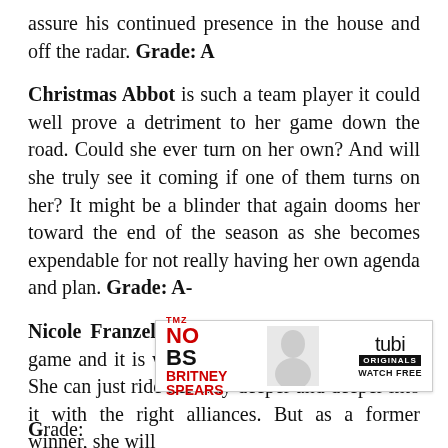assure his continued presence in the house and off the radar. Grade: A
Christmas Abbot is such a team player it could well prove a detriment to her game down the road. Could she ever turn on her own? And will she truly see it coming if one of them turns on her? It might be a blinder that again dooms her toward the end of the season as she becomes expendable for not really having her own agenda and plan. Grade: A-
Nicole Franzel is doing nothing really in this game and it is working out gangbusters for her. She can just ride her way deeper and deeper into it with the right alliances. But as a former winner, she will never [ad] es. Grade [ad]
[Figure (other): Advertisement banner for 'No BS Britney Spears' on Tubi Originals, Watch Free]
Partial text beginning at bottom of page